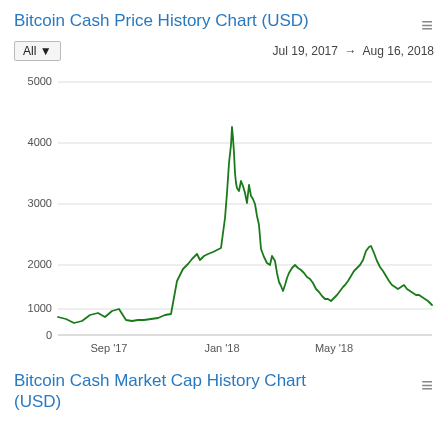Bitcoin Cash Price History Chart (USD)
All ▼   Jul 19, 2017  →  Aug 16, 2018
[Figure (line-chart): Line chart showing Bitcoin Cash price in USD from Jul 19, 2017 to Aug 16, 2018. Price starts around 300-400, stays low through Aug 2017, rises to ~2000 by Nov 2017, spikes to ~4100 in late Dec 2017/early Jan 2018, drops sharply to ~800-1000 by Feb 2018, fluctuates between 700-1800 through May 2018, then declines to ~600 by Aug 2018.]
Bitcoin Cash Market Cap History Chart (USD)